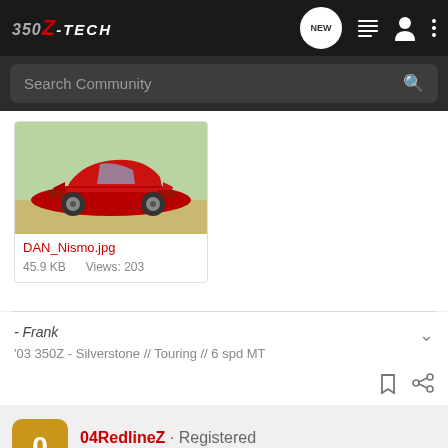350Z-TECH
Search Community
[Figure (photo): Red Nissan 350Z Nismo sports car parked, side profile view, green background]
DAN_Nismo.jpg
45.9 KB    Views: 203
- Frank
'03 350Z - Silverstone // Touring // 6 spd MT
04RedlineZ · Registered
Joined May 21, 2004 · 148 Posts